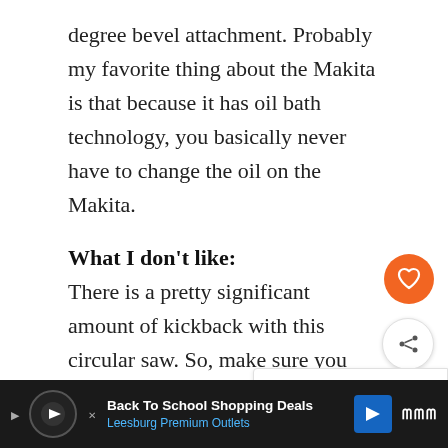degree bevel attachment. Probably my favorite thing about the Makita is that because it has oil bath technology, you basically never have to change the oil on the Makita.
What I don't like:
There is a pretty significant amount of kickback with this circular saw. So, make sure you give it a few practice runs before doing any serious projects with the saw. A significant kickback can lead to your wrist
[Figure (other): Orange circular heart/favorite button overlay and share button overlay on the right side of the page]
[Figure (other): What's Next card showing Circular Saw Basics with an icon]
[Figure (other): Advertisement banner at bottom: Back To School Shopping Deals - Leesburg Premium Outlets]